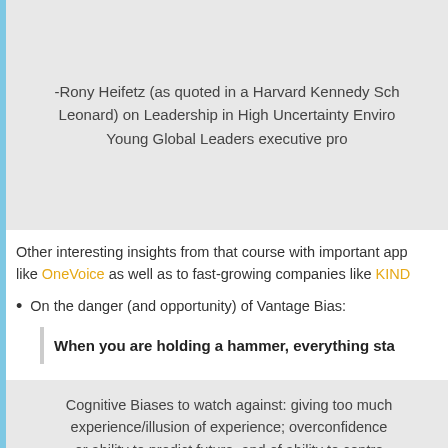-Rony Heifetz (as quoted in a Harvard Kennedy Sch... Leonard) on Leadership in High Uncertainty Enviro... Young Global Leaders executive pro...
Other interesting insights from that course with important app... like OneVoice as well as to fast-growing companies like KIND...
On the danger (and opportunity) of Vantage Bias:
When you are holding a hammer, everything sta...
Cognitive Biases to watch against: giving too much... experience/illusion of experience; overconfidence... or ability to predict future, and of ability to contr... disconfirming evidence; inability to perceive radical... commitment in the face of "evidence"; tendency... personal convictions;